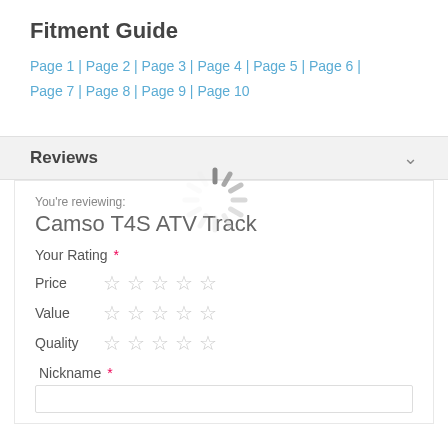Fitment Guide
Page 1 | Page 2 | Page 3 | Page 4 | Page 5 | Page 6 | Page 7 | Page 8 | Page 9 | Page 10
Reviews
You're reviewing:
Camso T4S ATV Track
Your Rating *
Price ☆ ☆ ☆ ☆ ☆
Value ☆ ☆ ☆ ☆ ☆
Quality ☆ ☆ ☆ ☆ ☆
Nickname *
[Figure (infographic): Loading spinner (circular animated loader) overlaid on the review form]